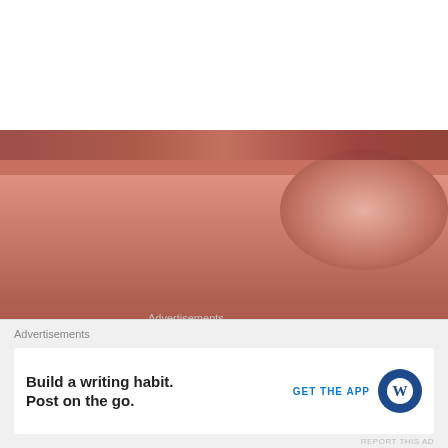[Figure (photo): Background photo showing close-up of reddish-brown textured surface (possibly meat or wood), with white blank area at top]
Advertisements
[Figure (illustration): Day One journaling app advertisement on light blue background. Shows three circular icons: a notebook on the left, a person holding a phone in the center, and a to-do list on the right. Text reads: DAY ONE - The only journaling app you'll ever need. Get the app button below.]
Advertisements
Build a writing habit.
Post on the go.
GET THE APP
REPORT THIS AD